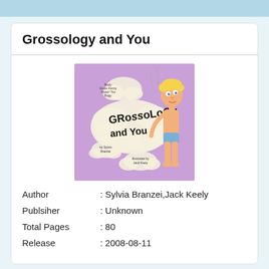Grossology and You
[Figure (illustration): Book cover of 'Grossology and You' showing a cartoon boy with blonde hair standing on a purple background, surrounded by cloud-like shapes with text. The main title 'Grossology and You' is written in large bold letters on the clouds.]
Author : Sylvia Branzei,Jack Keely
Publsiher : Unknown
Total Pages : 80
Release : 2008-08-11